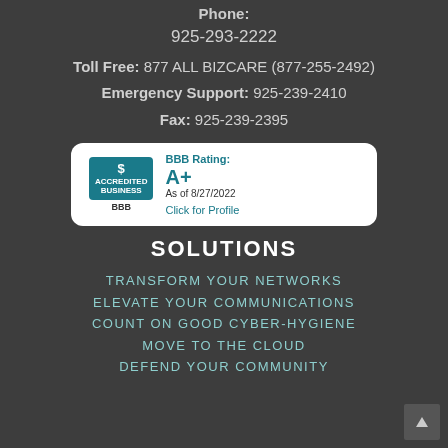Phone:
925-293-2222
Toll Free: 877 ALL BIZCARE (877-255-2492)
Emergency Support: 925-239-2410
Fax: 925-239-2395
[Figure (logo): BBB Accredited Business badge showing BBB Rating: A+ As of 8/27/2022, Click for Profile]
SOLUTIONS
TRANSFORM YOUR NETWORKS
ELEVATE YOUR COMMUNICATIONS
COUNT ON GOOD CYBER-HYGIENE
MOVE TO THE CLOUD
DEFEND YOUR COMMUNITY